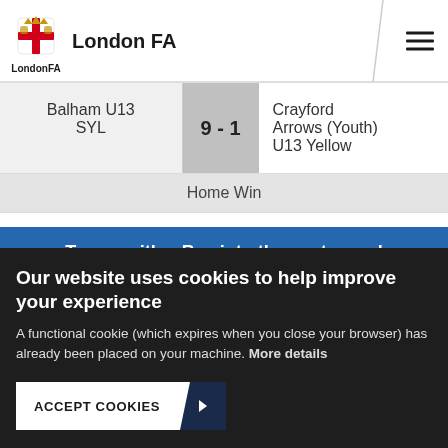London FA
| Home Team | Score | Away Team |
| --- | --- | --- |
| Balham U13 SYL | 9 - 1 | Crayford Arrows (Youth) U13 Yellow |
| Home Win |  |  |
Teams with a Bye into the next round
Our website uses cookies to help improve your experience
A functional cookie (which expires when you close your browser) has already been placed on your machine. More details
ACCEPT COOKIES